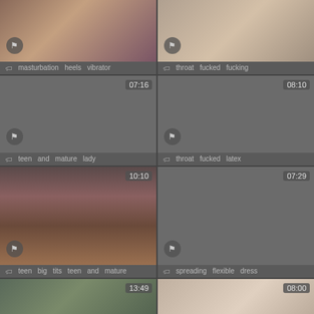[Figure (screenshot): Video thumbnail grid - top left: masturbation heels vibrator]
masturbation   heels   vibrator
[Figure (screenshot): Video thumbnail grid - top right: throat fucked fucking]
throat   fucked   fucking
[Figure (screenshot): Video thumbnail 07:16 - teen and mature lady]
teen   and   mature   lady
[Figure (screenshot): Video thumbnail 08:10 - throat fucked latex]
throat   fucked   latex
[Figure (screenshot): Video thumbnail 10:10 - teen big tits teen and mature]
teen   big   tits   teen   and   mature
[Figure (screenshot): Video thumbnail 07:29 - spreading flexible dress]
spreading   flexible   dress
[Figure (screenshot): Video thumbnail 13:49 - outdoor scene]
[Figure (screenshot): Video thumbnail 08:00 - close up scene]